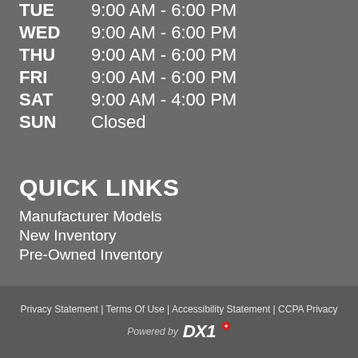TUE   9:00 AM - 6:00 PM
WED   9:00 AM - 6:00 PM
THU   9:00 AM - 6:00 PM
FRI   9:00 AM - 6:00 PM
SAT   9:00 AM - 4:00 PM
SUN   Closed
QUICK LINKS
Manufacturer Models
New Inventory
Pre-Owned Inventory
Privacy Statement | Terms Of Use | Accessibility Statement | CCPA Privacy   Powered by DX1